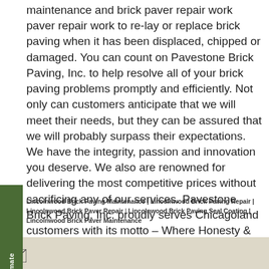maintenance and brick paver repair work paver repair work to re-lay or replace brick paving when it has been displaced, chipped or damaged. You can count on Pavestone Brick Paving, Inc. to help resolve all of your brick paving problems promptly and efficiently. Not only can customers anticipate that we will meet their needs, but they can be assured that we will probably surpass their expectations. We have the integrity, passion and innovation you deserve. We also are renowned for delivering the most competitive prices without sacrificing any of our services. Pavestone Brick Paving, Inc. proudly serves Chicagoland customers with its motto – Where Honesty & Quality Interlock! For the brick paving maintenance services and brick paving repair services you are looking for, give us a call at: (847) 895-7004, today, and ask us about our FREE estimate!
Lincolnwood Brick Paving Maintenance | Lincolnwood Brick Paving Repair | Lincolnwood Brick Paver Repair | Lincolnwood Brick Paving Seal Coating | Lincolnwood Brick Paver Maintenance